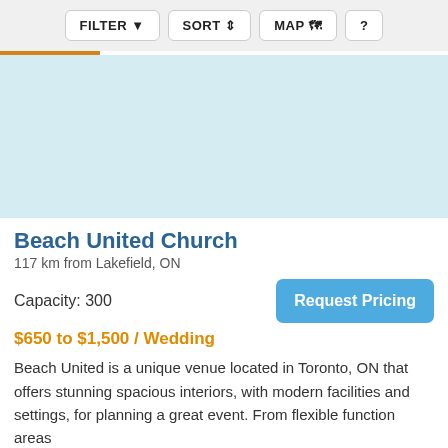FILTER  SORT  MAP  ?
[Figure (map): Light blue map area placeholder showing a map interface]
Beach United Church
117 km from Lakefield, ON
Capacity: 300
Request Pricing
$650 to $1,500 / Wedding
Beach United is a unique venue located in Toronto, ON that offers stunning spacious interiors, with modern facilities and settings, for planning a great event. From flexible function areas